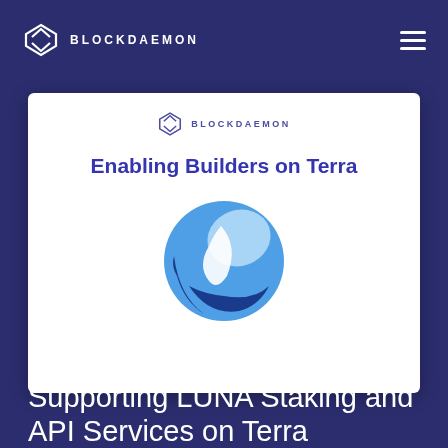BLOCKDAEMON
[Figure (screenshot): Blockdaemon presentation slide titled 'Enabling Builders on Terra' with the Terra blockchain logo (blue globe-like icon) centered on a white card background]
Supporting LUNA Staking and API Services on Terra